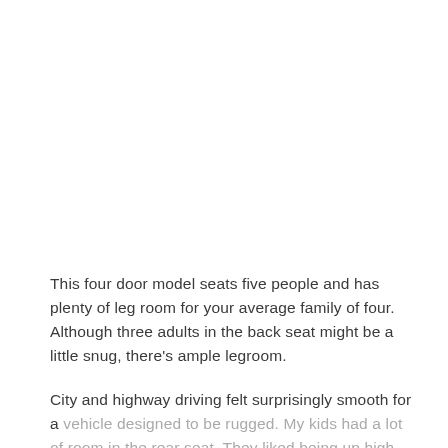This four door model seats five people and has plenty of leg room for your average family of four. Although three adults in the back seat might be a little snug, there's ample legroom.
City and highway driving felt surprisingly smooth for a vehicle designed to be rugged. My kids had a lot of room in the rear seat. They liked being up high as we explored some